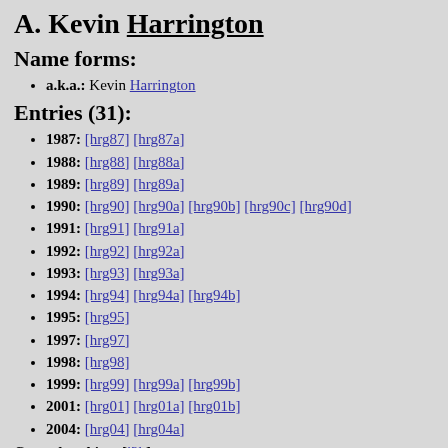A. Kevin Harrington
Name forms:
a.k.a.: Kevin Harrington
Entries (31):
1987: [hrg87] [hrg87a]
1988: [hrg88] [hrg88a]
1989: [hrg89] [hrg89a]
1990: [hrg90] [hrg90a] [hrg90b] [hrg90c] [hrg90d]
1991: [hrg91] [hrg91a]
1992: [hrg92] [hrg92a]
1993: [hrg93] [hrg93a]
1994: [hrg94] [hrg94a] [hrg94b]
1995: [hrg95]
1997: [hrg97]
1998: [hrg98]
1999: [hrg99] [hrg99a] [hrg99b]
2001: [hrg01] [hrg01a] [hrg01b]
2004: [hrg04] [hrg04a]
Co-authorships: [j2h]